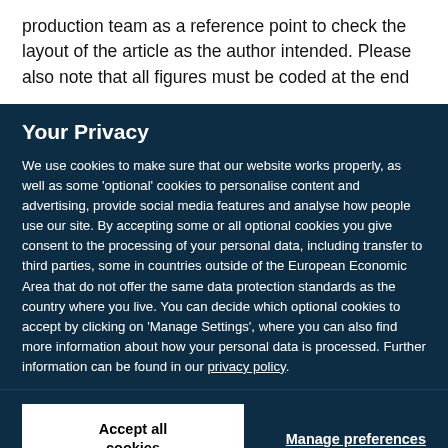production team as a reference point to check the layout of the article as the author intended. Please also note that all figures must be coded at the end
Your Privacy
We use cookies to make sure that our website works properly, as well as some 'optional' cookies to personalise content and advertising, provide social media features and analyse how people use our site. By accepting some or all optional cookies you give consent to the processing of your personal data, including transfer to third parties, some in countries outside of the European Economic Area that do not offer the same data protection standards as the country where you live. You can decide which optional cookies to accept by clicking on 'Manage Settings', where you can also find more information about how your personal data is processed. Further information can be found in our privacy policy.
Accept all cookies
Manage preferences